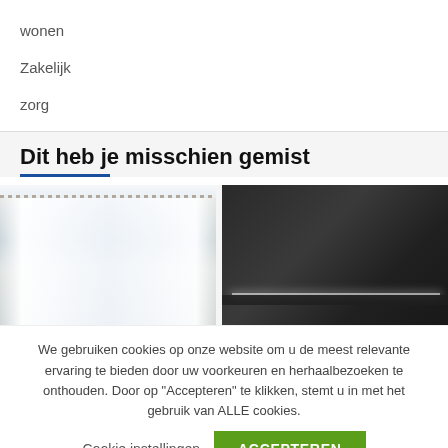wonen
Zakelijk
zorg
Dit heb je misschien gemist
[Figure (photo): Interior room with white sheer curtains on a curtain rod, bright window light]
[Figure (photo): Dark kitchen interior with dark cabinets and under-cabinet LED lighting]
We gebruiken cookies op onze website om u de meest relevante ervaring te bieden door uw voorkeuren en herhaalbezoeken te onthouden. Door op "Accepteren" te klikken, stemt u in met het gebruik van ALLE cookies.
Cookie instellingen
ACCEPTEREN